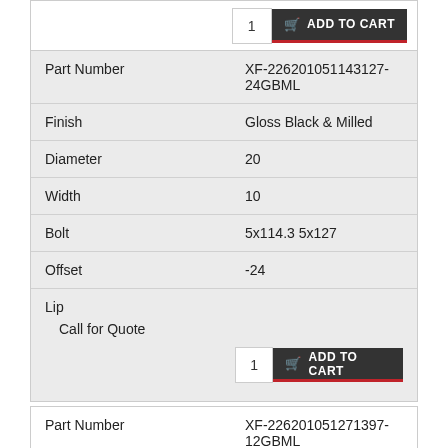| Attribute | Value |
| --- | --- |
| Part Number | XF-226201051143127-24GBML |
| Finish | Gloss Black & Milled |
| Diameter | 20 |
| Width | 10 |
| Bolt | 5x114.3 5x127 |
| Offset | -24 |
| Lip | Call for Quote |
| Attribute | Value |
| --- | --- |
| Part Number | XF-226201051271397-12GBML |
| Finish | Gloss Black & Milled |
| Diameter | 20 |
| Width | 10 |
| Bolt | 5x127 5x139.7 |